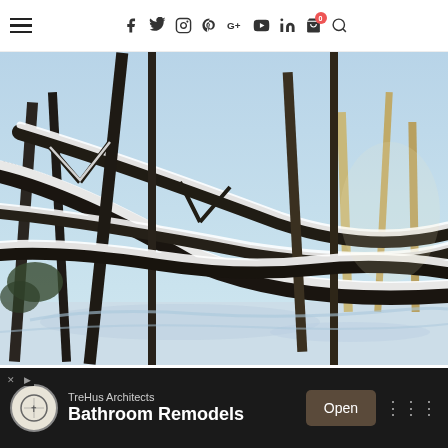Navigation header with hamburger menu and social icons: f (Facebook), Twitter, Instagram, Pinterest, G+, YouTube, LinkedIn, cart (0), search
[Figure (photo): Snow-covered forest scene with bare tree branches and trunks laden with snow, bright winter daylight, blue-tinted snow on ground]
[Figure (photo): Partially visible second snow-covered outdoor landscape photo below the main image]
[Figure (infographic): Advertisement banner: TreHus Architects, Bathroom Remodels, Open button, with logo circle, on dark background. AdChoices markers (X, arrow) visible at left.]